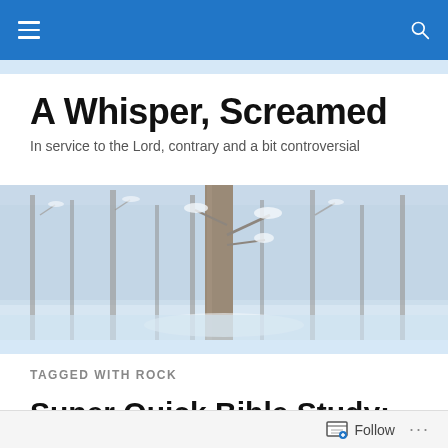Navigation bar with hamburger menu and search icon
A Whisper, Screamed
In service to the Lord, contrary and a bit controversial
[Figure (photo): Snow-covered winter forest scene with bare trees and a prominent tree trunk in the center]
TAGGED WITH ROCK
Super Quick Bible Study: Healing a Seared Conscience
Follow ...